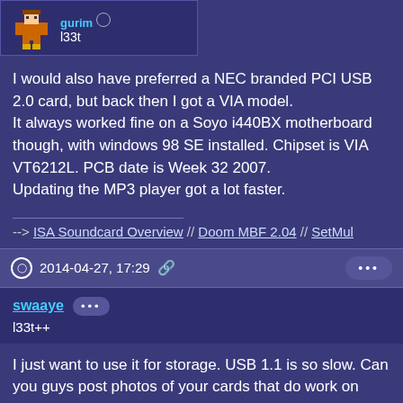[Figure (illustration): Pixel art avatar of a character in orange suit with yellow boots]
l33t
I would also have preferred a NEC branded PCI USB 2.0 card, but back then I got a VIA model.
It always worked fine on a Soyo i440BX motherboard though, with windows 98 SE installed. Chipset is VIA VT6212L. PCB date is Week 32 2007.
Updating the MP3 player got a lot faster.
--> ISA Soundcard Overview // Doom MBF 2.04 // SetMul
2014-04-27, 17:29
swaaye
l33t++
I just want to use it for storage. USB 1.1 is so slow. Can you guys post photos of your cards that do work on 1997-1999